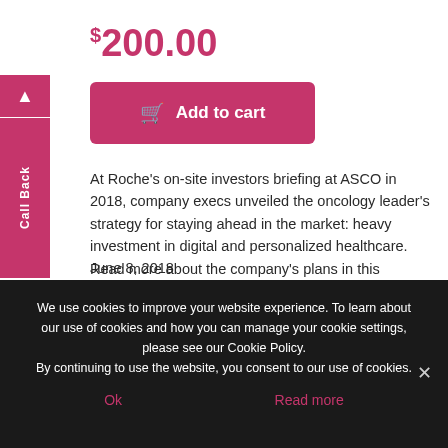$200.00
Add to cart
At Roche's on-site investors briefing at ASCO in 2018, company execs unveiled the oncology leader's strategy for staying ahead in the market: heavy investment in digital and personalized healthcare. Read more about the company's plans in this illuminating article from Scrip.
June 8, 2018
We use cookies to improve your website experience. To learn about our use of cookies and how you can manage your cookie settings, please see our Cookie Policy.
By continuing to use the website, you consent to our use of cookies.
Ok
Read more